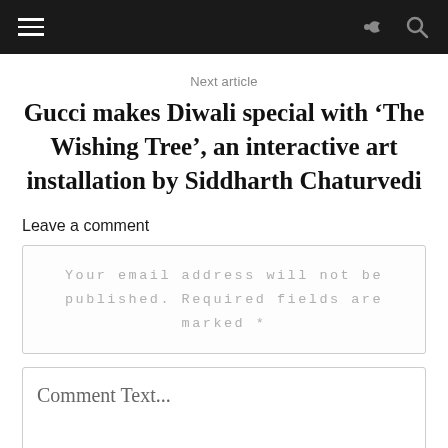Navigation bar with hamburger menu and share/search icons
Next article
Gucci makes Diwali special with ‘The Wishing Tree’, an interactive art installation by Siddharth Chaturvedi
Leave a comment
Your email address will not be published. Required fields are marked *
Comment Text...